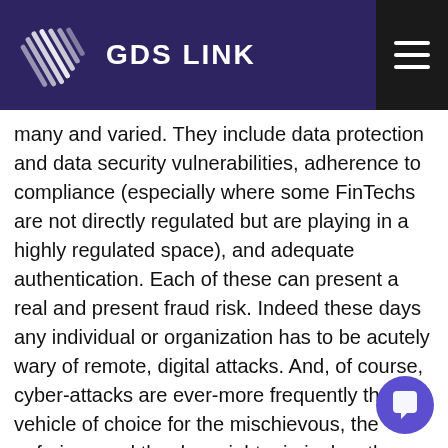GDS LINK
many and varied. They include data protection and data security vulnerabilities, adherence to compliance (especially where some FinTechs are not directly regulated but are playing in a highly regulated space), and adequate authentication. Each of these can present a real and present fraud risk. Indeed these days any individual or organization has to be acutely wary of remote, digital attacks. And, of course, cyber-attacks are ever-more frequently the vehicle of choice for the mischievous, the nefarious and the downright criminal as they seek to infiltrate, frustrate and gain advantage; and data, its (secure) access and availability has become the new currency, data compromise the oil of the criminal wheel and data breach one of the greatest challenges to organizational resilience, confidence and even